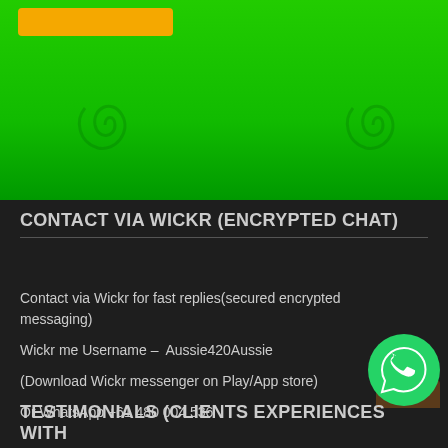[Figure (illustration): Green banner background with spiral watermark graphics and an orange button in the top left]
CONTACT VIA WICKR (ENCRYPTED CHAT)
Contact via Wickr for fast replies(secured encrypted messaging)
Wickr me Username –  Aussie420Aussie
(Download Wickr messenger on Play/App store)
Or WhatsApp +61 480 004 536
[Figure (logo): WhatsApp circular green icon with phone handset]
TESTIMONIALS (CLIENTS EXPERIENCES WITH